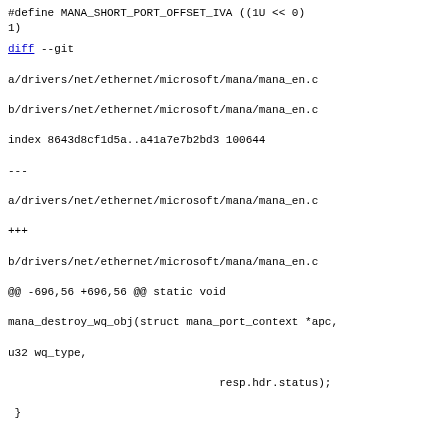#define MANA_SHORT_PORT_OFFSET_IVA ((1U << 0) 1)
diff --git a/drivers/net/ethernet/microsoft/mana/mana_en.c b/drivers/net/ethernet/microsoft/mana/mana_en.c
index 8643d8cf1d5a..a41a7e7b2bd3 100644
--- a/drivers/net/ethernet/microsoft/mana/mana_en.c
+++ b/drivers/net/ethernet/microsoft/mana/mana_en.c
@@ -696,56 +696,56 @@ static void mana_destroy_wq_obj(struct mana_port_context *apc, u32 wq_type,
                                        resp.hdr.status);
 }

-static void mana_destroy_eq(struct gdma_context *gc,
-                              struct mana_port_context *apc)
+static void mana_destroy_eq(struct mana_context *ac)
 {
+        struct gdma_context *gc = ac->gdma_dev->gdma_context;
         struct gdma_queue *eq;
         int i;

-        if (!apc->eqs)
+        if (!ac->eqs)